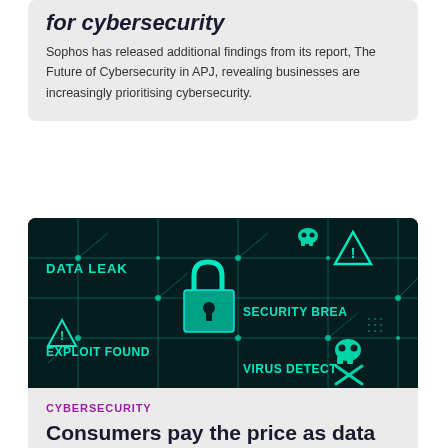for cybersecurity
Sophos has released additional findings from its report, The Future of Cybersecurity in APJ, revealing businesses are increasingly prioritising cybersecurity.
[Figure (photo): Dark teal circuit board with cybersecurity warning text overlays including DATA LEAK, SECURITY BREACH, EXPLOIT FOUND, VIRUS DETECTED, and a padlock icon.]
CYBERSECURITY
Consumers pay the price as data breach costs reach all-time high